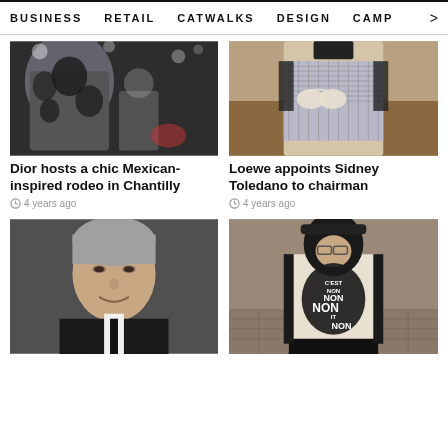BUSINESS  RETAIL  CATWALKS  DESIGN  CAMP >
[Figure (photo): Fashion show photo with black and white floral print outfit at Dior Mexican-inspired rodeo event in Chantilly]
Dior hosts a chic Mexican-inspired rodeo in Chantilly
4 years ago
[Figure (photo): Model wearing grey houndstooth top with white bra detail, Loewe collection]
Loewe appoints Sidney Toledano to chairman
4 years ago
[Figure (photo): Portrait of a man in dark suit with grey hair, smiling]
[Figure (photo): Model on catwalk wearing black balaclava cap and white sweater with NON NON NON graphic print and black skirt]